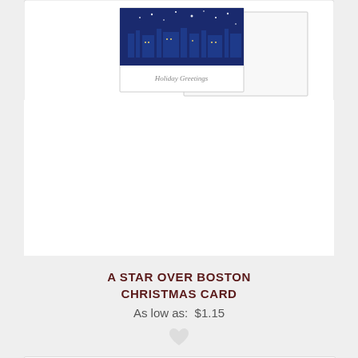[Figure (photo): Top portion of a Christmas card product listing showing a greeting card with a blue nighttime Boston skyline scene and 'Holiday Greetings' text, displayed as a folded card mockup on white background]
A STAR OVER BOSTON CHRISTMAS CARD
As low as:  $1.15
[Figure (photo): Bottom portion showing another Christmas card product listing with a cream/gold colored card featuring an illustration of Boston's Old South Meeting House with 'Season's Greetings' text in cursive script]